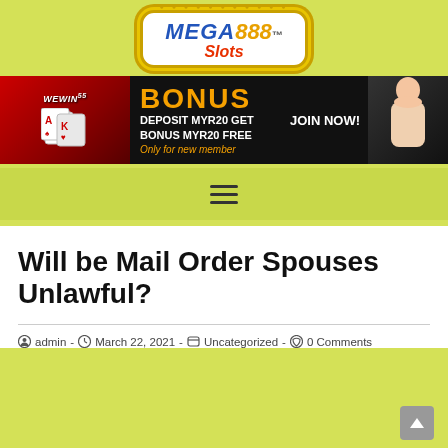[Figure (logo): Mega888 Slots logo in an octagonal decorative gold border]
[Figure (infographic): Casino bonus banner: BONUS DEPOSIT MYR20 GET BONUS MYR20 FREE, Only for new member, JOIN NOW! with WeWin logo and woman on right]
[Figure (other): Navigation hamburger menu bar with three horizontal lines]
Will be Mail Order Spouses Unlawful?
admin - March 22, 2021 - Uncategorized - 0 Comments